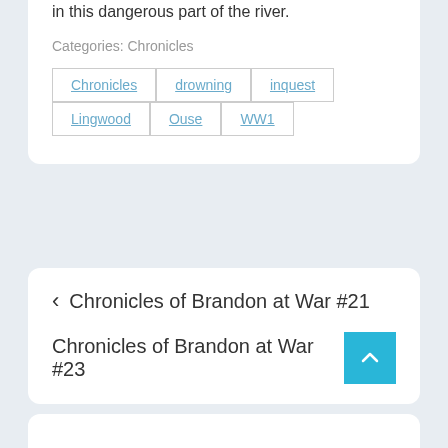in this dangerous part of the river.
Categories: Chronicles
Chronicles
drowning
inquest
Lingwood
Ouse
WW1
‹  Chronicles of Brandon at War #21
Chronicles of Brandon at War #23  ∧